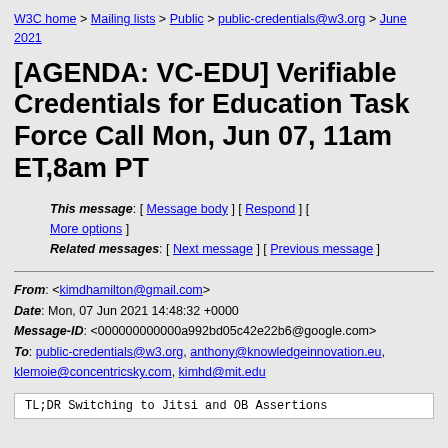W3C home > Mailing lists > Public > public-credentials@w3.org > June 2021
[AGENDA: VC-EDU] Verifiable Credentials for Education Task Force Call Mon, Jun 07, 11am ET,8am PT
This message: [ Message body ] [ Respond ] [ More options ]
Related messages: [ Next message ] [ Previous message ]
From: <kimdhamilton@gmail.com>
Date: Mon, 07 Jun 2021 14:48:32 +0000
Message-ID: <000000000000a992bd05c42e22b6@google.com>
To: public-credentials@w3.org, anthony@knowledgeinnovation.eu, klemoie@concentricsky.com, kimhd@mit.edu
TL;DR Switching to Jitsi and OB Assertions